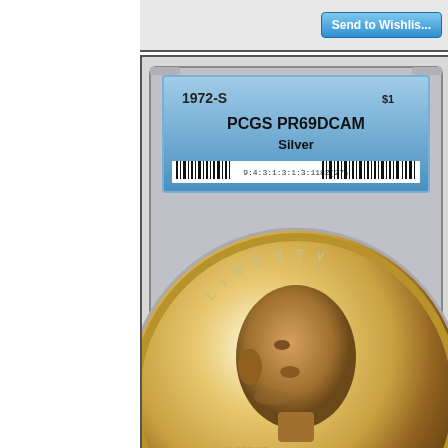[Figure (screenshot): Send to Wishlist button at top of page (partially visible)]
[Figure (photo): 1972-S Eisenhower Silver Dollar in PCGS PR69DCAM slab holder, showing obverse with Eisenhower portrait]
Click for
Larger images
1972-S Eisenhower Silver PROOF Dollar in PCGS PR 69 DCAM
Our price $ 34.9
[Figure (screenshot): Add to Cart button]
[Figure (screenshot): Send to Wishlist button at bottom of page (partially visible)]